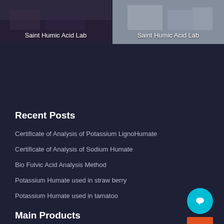[Figure (photo): Two image cards side by side showing Saint Humic Acid Lab. Left card has a dark interior lab scene, right card shows lab equipment on a light background.]
Saint Humic Acid Lab
Saint Humic Acid Lab
Recent Posts
Certificate of Analysis of Potassium LignoHumate
Certificate of Analysis of Sodium Humate
Bio Fulvic Acid Analysis Method
Potassium Humate used in straw berry
Potassium Humate used in tamatoo
Main Products